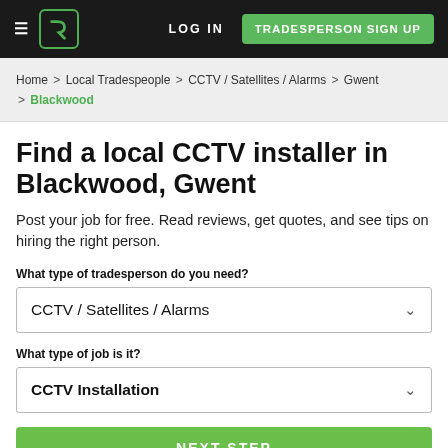LOG IN | TRADESPERSON SIGN UP
Home > Local Tradespeople > CCTV / Satellites / Alarms > Gwent > Blackwood
Find a local CCTV installer in Blackwood, Gwent
Post your job for free. Read reviews, get quotes, and see tips on hiring the right person.
What type of tradesperson do you need?
CCTV / Satellites / Alarms
What type of job is it?
CCTV Installation
NEXT STEP